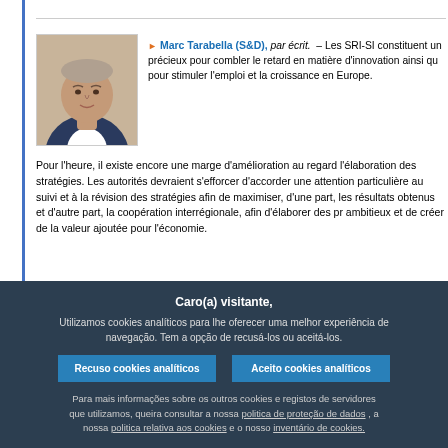Marc Tarabella (S&D), par écrit. – Les SRI-SI constituent un précieux pour combler le retard en matière d'innovation ainsi qu pour stimuler l'emploi et la croissance en Europe.
Pour l'heure, il existe encore une marge d'amélioration au regard l'élaboration des stratégies. Les autorités devraient s'efforcer d'accorder une attention particulière au suivi et à la révision des stratégies afin de maximiser, d'une part, les résultats obtenus et d'autre part, la coopération interrégionale, afin d'élaborer des programmes ambitieux et de créer de la valeur ajoutée pour l'économie.
La simplification et la coordination des programmes existants sont également essentielles en vue de contribuer à la réussite de la mise en œuvre des stratégies dans les années à venir.
Caro(a) visitante,
Utilizamos cookies analíticos para lhe oferecer uma melhor experiência de navegação. Tem a opção de recusá-los ou aceitá-los.
Recuso cookies analíticos | Aceito cookies analíticos
Para mais informações sobre os outros cookies e registos de servidores que utilizamos, queira consultar a nossa politica de proteção de dados , a nossa politica relativa aos cookies e o nosso inventário de cookies.